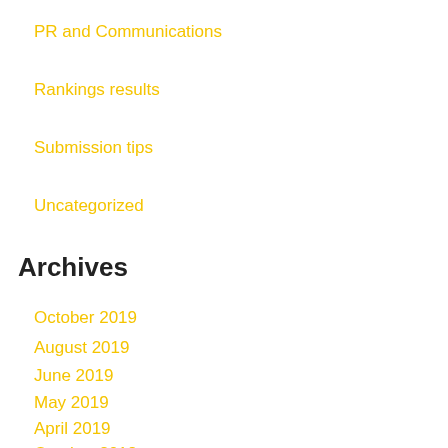PR and Communications
Rankings results
Submission tips
Uncategorized
Archives
October 2019
August 2019
June 2019
May 2019
April 2019
October 2018